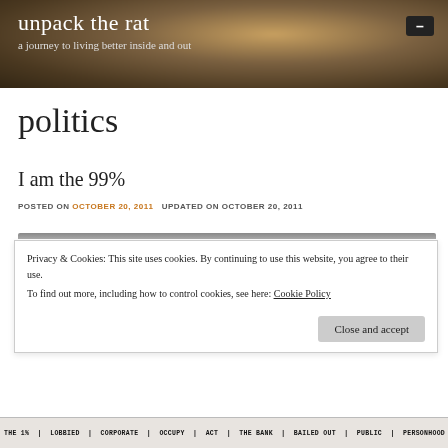unpack the rat
a journey to living better inside and out
politics
I am the 99%
POSTED ON OCTOBER 20, 2011   UPDATED ON OCTOBER 20, 2011
Privacy & Cookies: This site uses cookies. By continuing to use this website, you agree to their use.
To find out more, including how to control cookies, see here: Cookie Policy
[Figure (photo): Bottom strip showing a protest sign with text including 'THE 1%', 'LOBBIED', 'CORPORATE', 'OCCUPY', 'ACT', 'THE BANK', 'BAILED OUT', 'PUBLIC', 'PERSONHOOD', 'GOVERNMENT', 'STOLE MY', 'WE GOT']